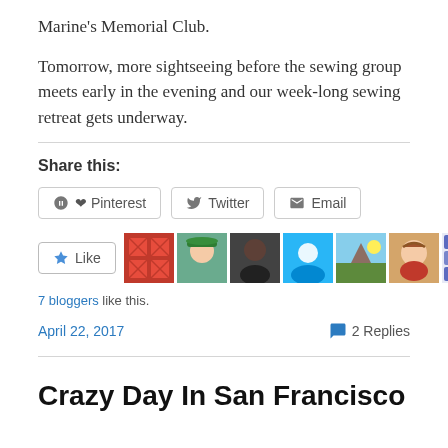Marine's Memorial Club.
Tomorrow, more sightseeing before the sewing group meets early in the evening and our week-long sewing retreat gets underway.
Share this:
Pinterest   Twitter   Email
[Figure (other): Like button with 7 blogger avatars showing likes]
7 bloggers like this.
April 22, 2017   2 Replies
Crazy Day In San Francisco